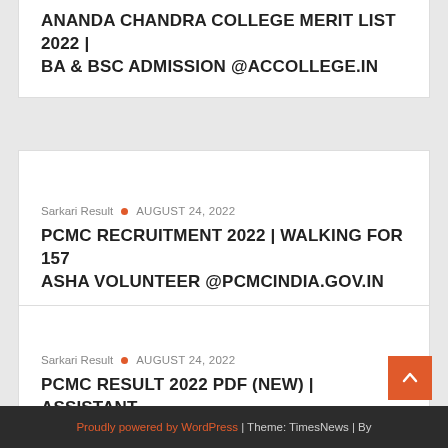ANANDA CHANDRA COLLEGE MERIT LIST 2022 | BA & BSC ADMISSION @ACCOLLEGE.IN
Sarkari Result • AUGUST 24, 2022
PCMC RECRUITMENT 2022 | WALKING FOR 157 ASHA VOLUNTEER @PCMCINDIA.GOV.IN
Sarkari Result • AUGUST 24, 2022
PCMC RESULT 2022 PDF (NEW) | ASSISTANT TEACHER MERIT LIST @PCMCINDIA.GOV.IN
Proudly powered by WordPress | Theme: TimesNews | By